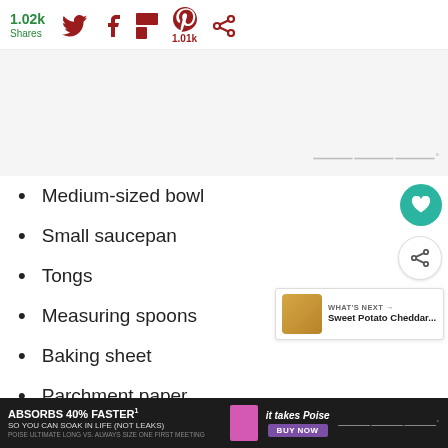1.02k Shares
[Figure (screenshot): Gray advertisement placeholder area with watermark logo in bottom-right corner]
Medium-sized bowl
Small saucepan
Tongs
Measuring spoons
Baking sheet
Parchment paper
ABSORBS 40% FASTER* SO YOU CAN SOAK IN LIFE (NOT LEAKS) POISE ULTIMATE LONG VS. ALWAYS SIZE ONE FIRST MEETING | IT TAKES Poise BUY NOW